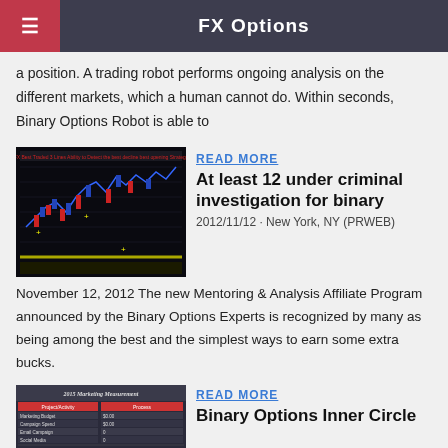FX Options
a position. A trading robot performs ongoing analysis on the different markets, which a human cannot do. Within seconds, Binary Options Robot is able to
[Figure (screenshot): Screenshot of a trading chart with candlestick patterns, blue and red candles on black background with yellow markers]
READ MORE
At least 12 under criminal investigation for binary
2012/11/12 · New York, NY (PRWEB)
November 12, 2012 The new Mentoring & Analysis Affiliate Program announced by the Binary Options Experts is recognized by many as being among the best and the simplest ways to earn some extra bucks.
[Figure (screenshot): Screenshot of a marketing measurement table titled '2015 Marketing Measurement' with rows of data]
READ MORE
Binary Options Inner Circle